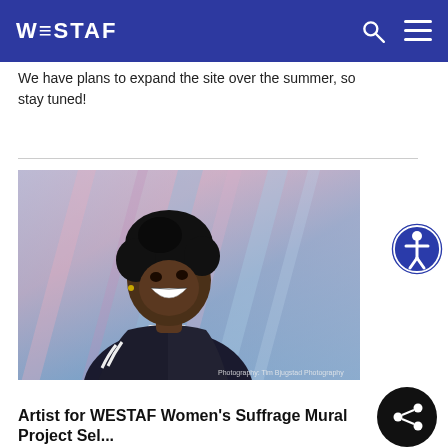WESTAF
We have plans to expand the site over the summer, so stay tuned!
[Figure (photo): Young smiling person wearing a dark jacket and tie, standing in front of a colorful blurred background. Photo credit visible at bottom right.]
Artist for WESTAF Women's Suffrage Mural Project Selected